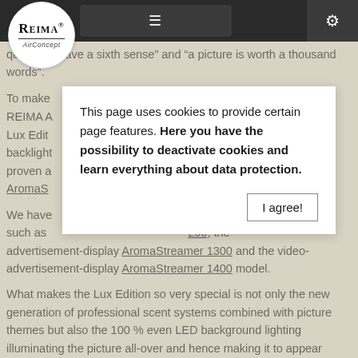[Figure (logo): Reima AirConcept logo in white circle on dark navigation bar]
quote: "to have a sixth sense" and "a picture is worth a thousand words".
To make ... in your head, REIMA A... REIMAROM® Lux Edit... l use with backlight... used on our proven a... 50 and AromaS... sign (front).
We have ... ales displays, such as ... 200, the advertisement-display AromaStreamer 1300 and the video-advertisement-display AromaStreamer 1400 model.
What makes the Lux Edition so very special is not only the new generation of professional scent systems combined with picture themes but also the 100 % even LED background lighting illuminating the picture all-over and hence making it to appear
This page uses cookies to provide certain page features. Here you have the possibility to deactivate cookies and learn everything about data protection.